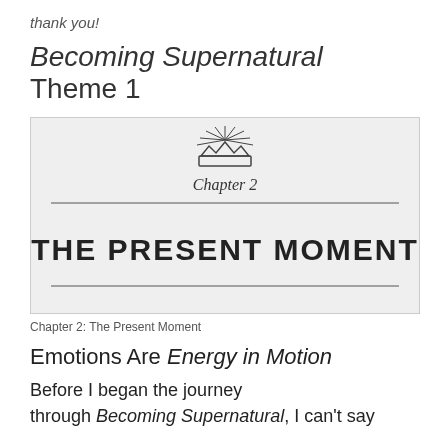thank you!
Becoming Supernatural Theme 1
[Figure (illustration): Book chapter opener image showing a crown illustration above the text 'Chapter 2' in italic serif font, a horizontal rule, and the bold large-print text 'THE PRESENT MOMENT', with another horizontal rule below.]
Chapter 2: The Present Moment
Emotions Are Energy in Motion
Before I began the journey through Becoming Supernatural, I can't say